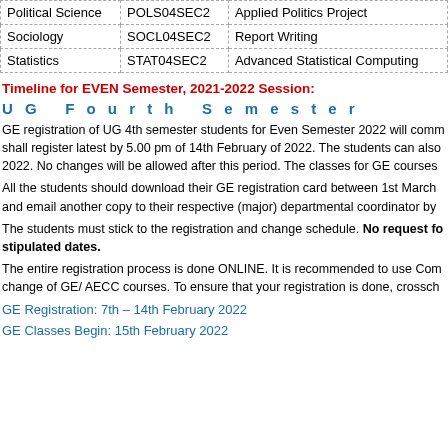|  |  |  |
| --- | --- | --- |
| Political Science | POLS04SEC2 | Applied Politics Project |
| Sociology | SOCL04SEC2 | Report Writing |
| Statistics | STAT04SEC2 | Advanced Statistical Computing |
Timeline for EVEN Semester, 2021-2022 Session:
UG Fourth Semester
GE registration of UG 4th semester students for Even Semester 2022 will comm shall register latest by 5.00 pm of 14th February of 2022. The students can also 2022. No changes will be allowed after this period. The classes for GE courses
All the students should download their GE registration card between 1st March and email another copy to their respective (major) departmental coordinator by
The students must stick to the registration and change schedule. No request fo stipulated dates.
The entire registration process is done ONLINE. It is recommended to use Com change of GE/ AECC courses. To ensure that your registration is done, crossch
GE Registration: 7th – 14th February 2022
GE Classes Begin: 15th February 2022